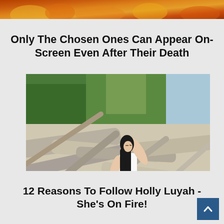[Figure (photo): Top banner strip showing fire/flame imagery in orange and red tones]
Only The Chosen Ones Can Appear On-Screen Even After Their Death
[Figure (photo): Woman in white swimsuit posing against driftwood logs on a beach, with trees and ocean in background]
12 Reasons To Follow Holly Luyah - She's On Fire!